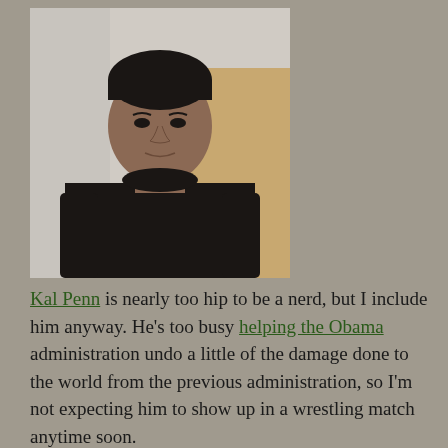[Figure (photo): Portrait photo of Kal Penn, a young South Asian man wearing a black long-sleeve crew-neck sweater, standing in front of a blurred light background]
Kal Penn is nearly too hip to be a nerd, but I include him anyway. He's too busy helping the Obama administration undo a little of the damage done to the world from the previous administration, so I'm not expecting him to show up in a wrestling match anytime soon.